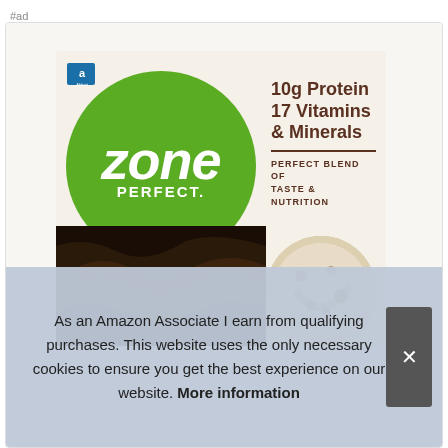#ad
[Figure (photo): ZonePerfect nutrition bar product box showing green circle logo with 'Zone PERFECT.' branding, '10g Protein 17 Vitamins & Minerals', 'PERFECT BLEND OF TASTE & NUTRITION', chocolate-coated bar and cookie imagery, with Abbott logo in corner]
As an Amazon Associate I earn from qualifying purchases. This website uses the only necessary cookies to ensure you get the best experience on our website. More information